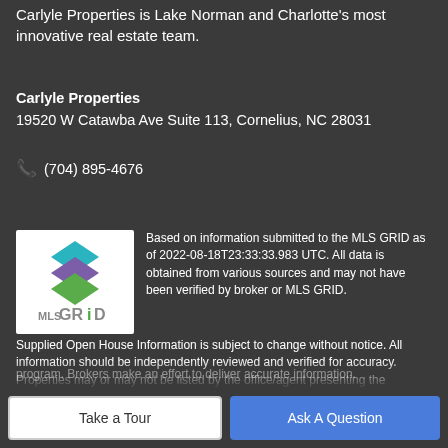Carlyle Properties is Lake Norman and Charlotte's most innovative real estate team.
Carlyle Properties
19520 W Catawba Ave Suite 113, Cornelius, NC 28031
📞 (704) 895-4676
[Figure (logo): MLS GRID logo with stacked colored diamond shapes above 'MLS GRID' text in gray]
Based on information submitted to the MLS GRID as of 2022-08-18T23:33:33.983 UTC. All data is obtained from various sources and may not have been verified by broker or MLS GRID. Supplied Open House Information is subject to change without notice. All information should be independently reviewed and verified for accuracy. Properties may or may not be listed by the office/agent presenting the information.The data relating to real estate on this Web site derive in part from the Canopy MLS IDX program. Brokers make an effort to deliver accurate information.
Take a Tour
Ask A Question